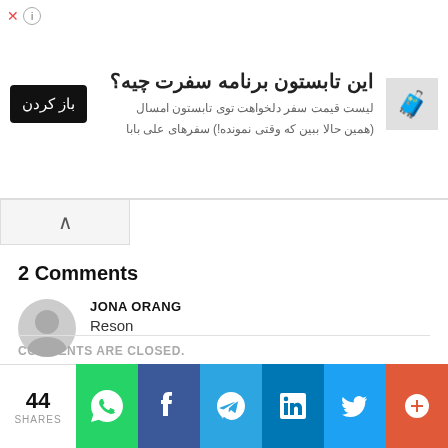[Figure (infographic): Advertisement banner with Persian text, a 'باز کردن' (Open) button, and a travel-themed icon. Title: این تابستون برنامه سفرت چیه؟ Body: لیست قیمت سفر دلخواهت توی تابستون امسال (همین حالا ببین که وقتی نمونده!) سفرهای علی بابا]
2 Comments
JONA ORANG
Reson
JONA ORANG
Reason
COMMENTS ARE CLOSED.
44 SHARES